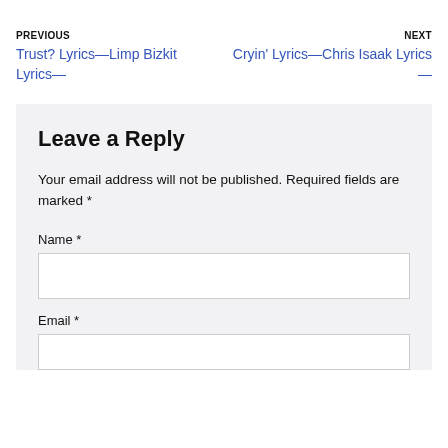PREVIOUS Trust? Lyrics—Limp Bizkit Lyrics—
NEXT Cryin' Lyrics—Chris Isaak Lyrics—
Leave a Reply
Your email address will not be published. Required fields are marked *
Name *
Email *